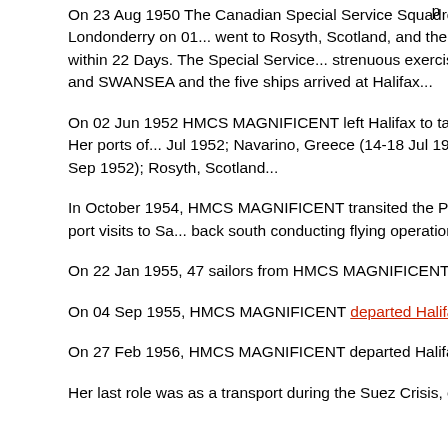p
On 23 Aug 1950 The Canadian Special Service Squadron, consist... Canadian Special Service Squadron arrived at Londonderry on 01... went to Rosyth, Scotland, and then to Oslo, Norway. Ships of the... Portsmouth and Cherbourg - within 22 Days. The Special Service... strenuous exercise period with the British Home Fleet, the ships s... HULLOSIE and SWANSEA and the five ships arrived at Halifax...
On 02 Jun 1952 HMCS MAGNIFICENT left Halifax to take part... part in Exercise Mainbrace '52 on the final leg home. Her ports of... Jul 1952; Navarino, Greece (14-18 Jul 1952); Athens, Greece (19-... 1952); Belfast, Ireland (28 Aug - 03 Sep 1952); Rosyth, Scotland...
In October 1954, HMCS MAGNIFICENT transited the Panama C... Pacific coast. Enroute to Esquimalt she paid 4 day port visits to Sa... back south conducting flying operations on her way back to Halif...
On 22 Jan 1955, 47 sailors from HMCS MAGNIFICENT were ac...
On 04 Sep 1955, HMCS MAGNIFICENT departed Halifax for a... Halifax on 07 Dec 1955.
On 27 Feb 1956, HMCS MAGNIFICENT departed Halifax for Sp...
Her last role was as a transport during the Suez Crisis, carrying a...